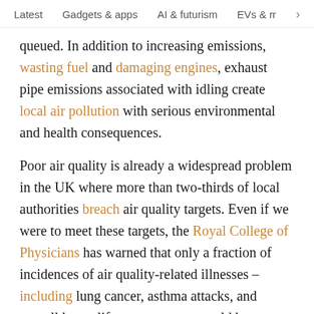Latest   Gadgets & apps   AI & futurism   EVs & mobil  >
queued. In addition to increasing emissions, wasting fuel and damaging engines, exhaust pipe emissions associated with idling create local air pollution with serious environmental and health consequences.

Poor air quality is already a widespread problem in the UK where more than two-thirds of local authorities breach air quality targets. Even if we were to meet these targets, the Royal College of Physicians has warned that only a fraction of incidences of air quality-related illnesses – including lung cancer, asthma attacks, and overall lower life expectancy – would be prevented. Currently, air pollution leads to 40,000 deaths per year in the UK, with annual costs to the NHS of more